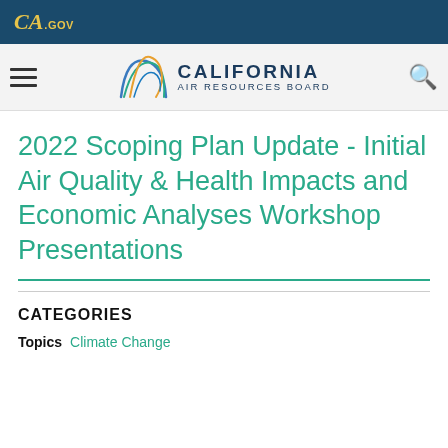CA.GOV
[Figure (logo): California Air Resources Board logo with stylized arc graphic and CA.GOV top bar]
2022 Scoping Plan Update - Initial Air Quality & Health Impacts and Economic Analyses Workshop Presentations
CATEGORIES
Topics  Climate Change